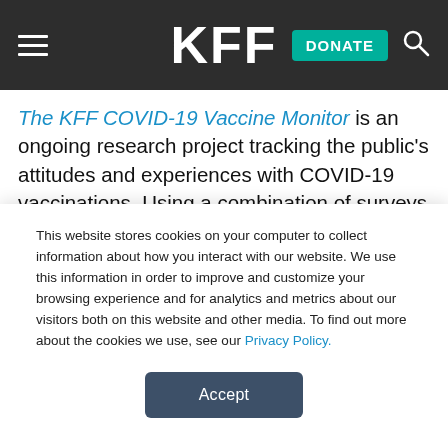KFF | DONATE
The KFF COVID-19 Vaccine Monitor is an ongoing research project tracking the public’s attitudes and experiences with COVID-19 vaccinations. Using a combination of surveys and qualitative research, this project tracks the dynamic nature of public opinion as vaccine development and distribution unfold, including vaccine confidence and acceptance, information needs, trusted
This website stores cookies on your computer to collect information about how you interact with our website. We use this information in order to improve and customize your browsing experience and for analytics and metrics about our visitors both on this website and other media. To find out more about the cookies we use, see our Privacy Policy.